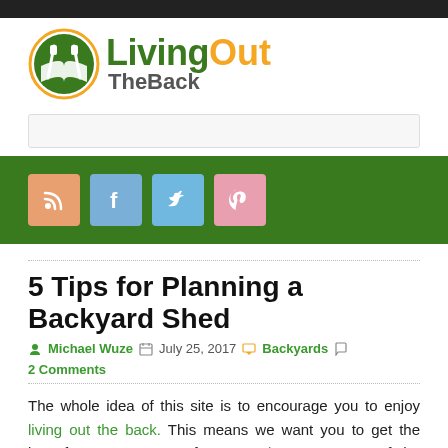[Figure (logo): LivingOutTheBack logo with circular green emblem containing crossed utensils and an open book, with site name text]
[Figure (infographic): Social media icons: RSS (orange), Facebook (blue), Twitter (blue), Pinterest (pink) on dark green navigation bar]
5 Tips for Planning a Backyard Shed
Michael Wuze   July 25, 2017   Backyards   2 Comments
The whole idea of this site is to encourage you to enjoy living out the back. This means we want you to get the best fun you can out of your outdoor area. One of the many